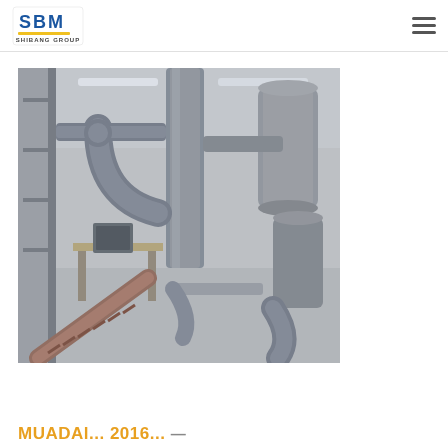SBM Shibang Group logo and navigation
[Figure (photo): Industrial interior showing heavy machinery, dust collection pipes, conveyors, and processing equipment inside a manufacturing facility. Large grey cylindrical ducts and pipes visible overhead.]
MUADA... 2016... (partial text visible at bottom)